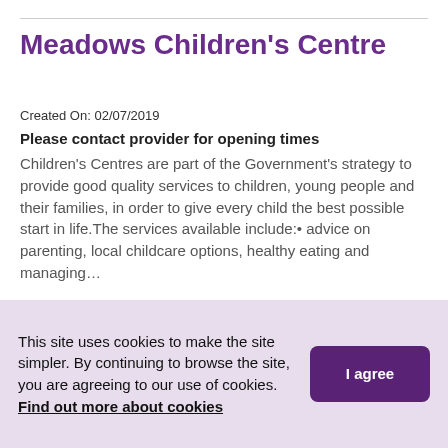Meadows Children's Centre
Created On: 02/07/2019
Please contact provider for opening times
Children's Centres are part of the Government's strategy to provide good quality services to children, young people and their families, in order to give every child the best possible start in life.The services available include:• advice on parenting, local childcare options, healthy eating and managing…
Sharnbrook Upper School, Odell Road, Sharnbrook, Bedford, MK44 1JL,
03003230245   Email   Website
This site uses cookies to make the site simpler. By continuing to browse the site, you are agreeing to our use of cookies. Find out more about cookies